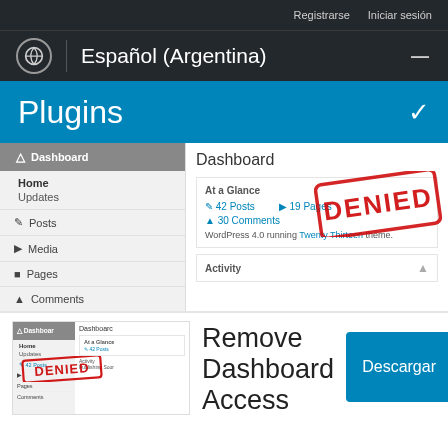Registrarse  Iniciar sesión
Español (Argentina)
Plugins
Dashboard
At a Glance
42 Posts  19 Pages
30 Comments
WordPress 4.0 running Twenty Thirteen theme.
[Figure (screenshot): DENIED stamp overlaid on WordPress admin dashboard screenshot]
Activity
[Figure (screenshot): Thumbnail of WordPress admin dashboard with DENIED stamp overlay]
Remove Dashboard Access
Descargar